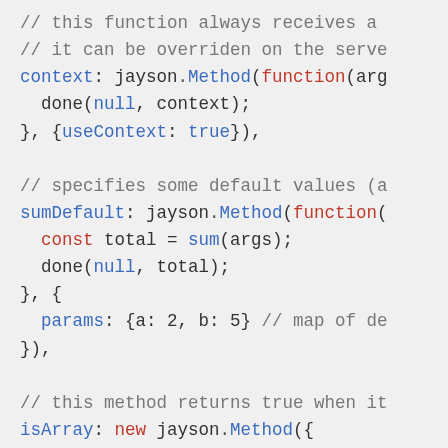// this function always receives a
// it can be overriden on the serve
context: jayson.Method(function(arg
  done(null, context);
}, {useContext: true}),

// specifies some default values (a
sumDefault: jayson.Method(function(
  const total = sum(args);
  done(null, total);
}, {
  params: {a: 2, b: 5} // map of de
}),

// this method returns true when it
isArray: new jayson.Method({